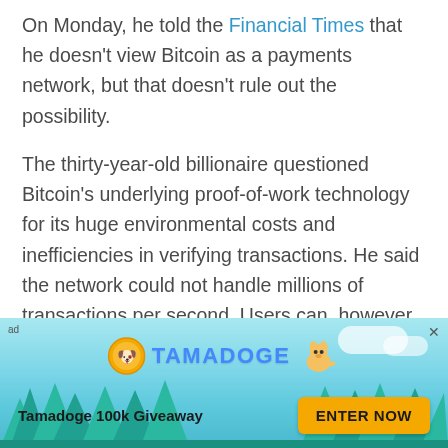On Monday, he told the Financial Times that he doesn't view Bitcoin as a payments network, but that doesn't rule out the possibility.
The thirty-year-old billionaire questioned Bitcoin's underlying proof-of-work technology for its huge environmental costs and inefficiencies in verifying transactions. He said the network could not handle millions of transactions per second. Users can, however, transfer Bitcoin to layer two payment systems like Lightning, according to him. Proof-of-
[Figure (infographic): Tamadoge advertisement banner with cyan/teal sky background, pine trees silhouette, Tamadoge coin logo, cartoon dog mascot, 'Tamadoge 100k Giveaway' text, and yellow 'ENTER NOW' button. Includes 'ad' label and close button (×).]